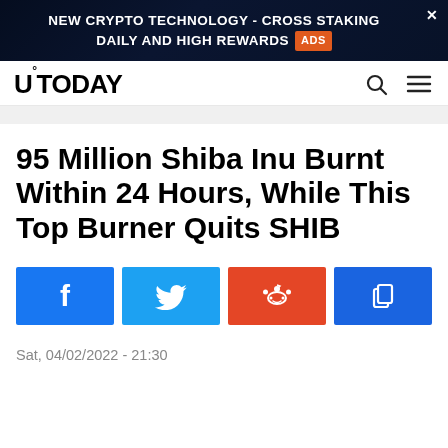[Figure (screenshot): Advertisement banner: NEW CRYPTO TECHNOLOGY - CROSS STAKING DAILY AND HIGH REWARDS with Ads badge and close button]
U°TODAY
95 Million Shiba Inu Burnt Within 24 Hours, While This Top Burner Quits SHIB
[Figure (infographic): Social share buttons: Facebook (blue), Twitter (light blue), Reddit (orange-red), Copy/Share (blue)]
Sat, 04/02/2022 - 21:30